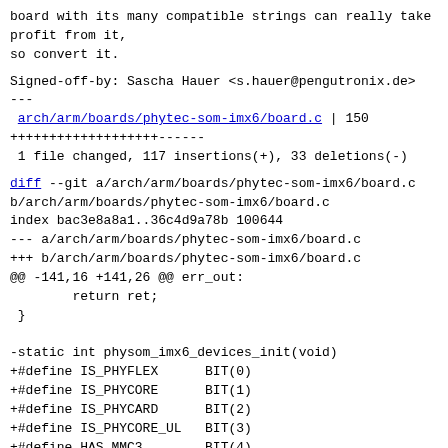board with its many compatible strings can really take profit from it,
so convert it.
Signed-off-by: Sascha Hauer <s.hauer@pengutronix.de>
---
 arch/arm/boards/phytec-som-imx6/board.c | 150
++++++++++++++++++------
 1 file changed, 117 insertions(+), 33 deletions(-)
diff --git a/arch/arm/boards/phytec-som-imx6/board.c b/arch/arm/boards/phytec-som-imx6/board.c
index bac3e8a8a1..36c4d9a78b 100644
--- a/arch/arm/boards/phytec-som-imx6/board.c
+++ b/arch/arm/boards/phytec-som-imx6/board.c
@@ -141,16 +141,26 @@ err_out:
        return ret;
 }

-static int physom_imx6_devices_init(void)
+#define IS_PHYFLEX      BIT(0)
+#define IS_PHYCORE      BIT(1)
+#define IS_PHYCARD      BIT(2)
+#define IS_PHYCORE_UL   BIT(3)
+#define HAS_MMC3        BIT(4)
+#define HAS_MMC1        BIT(5)
+
+struct board_data {
+       unsigned flags;
+};